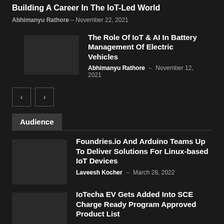Building A Career In The IoT-Led World
Abhimanyu Rathore – November 22, 2021
The Role Of IoT & AI In Battery Management Of Electric Vehicles
Abhimanyu Rathore – November 12, 2021
[Figure (other): Pagination buttons with left and right arrows]
Audience
Foundries.io And Arduino Teams Up To Deliver Solutions For Linux-based IoT Devices
Laveesh Kocher – March 28, 2022
IoTecha EV Gets Added Into SCE Charge Ready Program Approved Product List